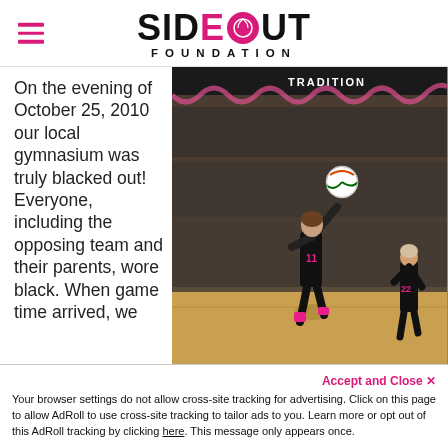SIDEOUT FOUNDATION
On the evening of October 25, 2010 our local gymnasium was truly blacked out! Everyone, including the opposing team and their parents, wore black. When game time arrived, we
[Figure (photo): Volleyball player in black jersey jumping to serve the ball in a gymnasium decorated with pink streamers. Spectators wearing black fill the bleachers behind. A 'TRADITION' banner is visible. Another player wearing #22 stands at right.]
Accept and Close ✕
Your browser settings do not allow cross-site tracking for advertising. Click on this page to allow AdRoll to use cross-site tracking to tailor ads to you. Learn more or opt out of this AdRoll tracking by clicking here. This message only appears once.